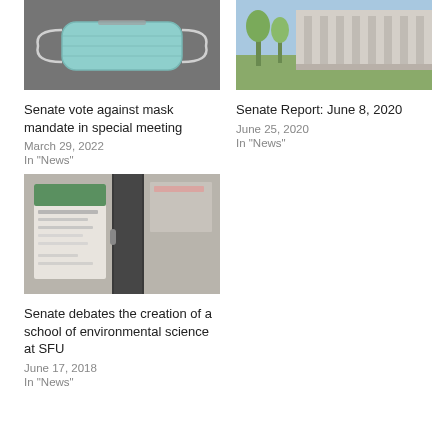[Figure (photo): A blue surgical face mask lying on a gray fabric surface]
[Figure (photo): Exterior of a modern university building with trees in foreground and blue sky]
Senate vote against mask mandate in special meeting
March 29, 2022
In "News"
Senate Report: June 8, 2020
June 25, 2020
In "News"
[Figure (photo): A glass door or window with a Faculty of Environment poster/sign visible]
Senate debates the creation of a school of environmental science at SFU
June 17, 2018
In "News"